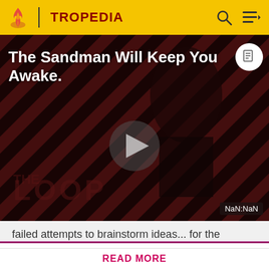TROPEDIA
[Figure (screenshot): Video thumbnail showing a dark-robed figure against a red diagonal striped background. Title text reads 'The Sandman Will Keep You Awake.' with a play button in the center and 'THE LOOP' watermark. Time display shows NaN:NaN.]
failed attempts to brainstorm ideas... for the
Before making a single edit, Tropedia EXPECTS our site policy and manual of style to be followed. Failure to do so may
READ MORE